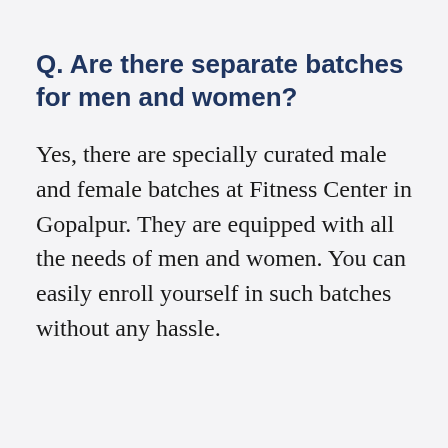Q. Are there separate batches for men and women?
Yes, there are specially curated male and female batches at Fitness Center in Gopalpur. They are equipped with all the needs of men and women. You can easily enroll yourself in such batches without any hassle.